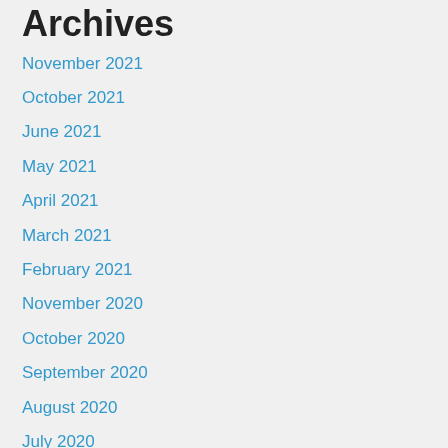Archives
November 2021
October 2021
June 2021
May 2021
April 2021
March 2021
February 2021
November 2020
October 2020
September 2020
August 2020
July 2020
June 2020
May 2020